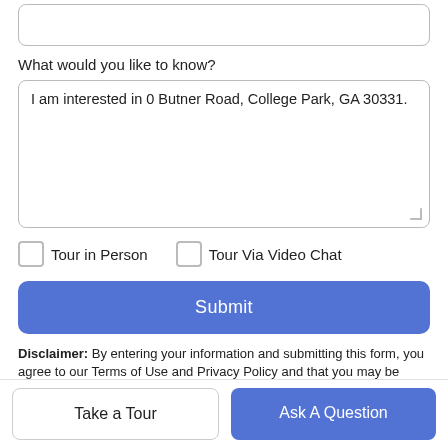What would you like to know?
I am interested in 0 Butner Road, College Park, GA 30331.
Tour in Person
Tour Via Video Chat
Submit
Disclaimer: By entering your information and submitting this form, you agree to our Terms of Use and Privacy Policy and that you may be contacted by
Take a Tour
Ask A Question